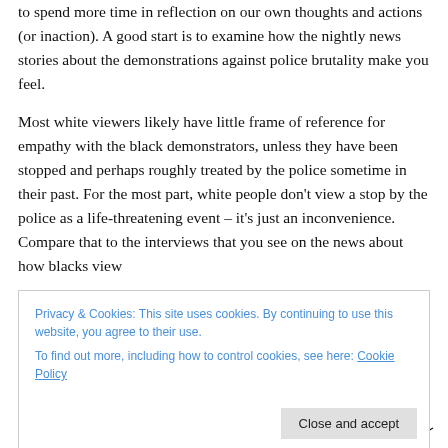to spend more time in reflection on our own thoughts and actions (or inaction). A good start is to examine how the nightly news stories about the demonstrations against police brutality make you feel.
Most white viewers likely have little frame of reference for empathy with the black demonstrators, unless they have been stopped and perhaps roughly treated by the police sometime in their past. For the most part, white people don't view a stop by the police as a life-threatening event – it's just an inconvenience. Compare that to the interviews that you see on the news about how blacks view
Privacy & Cookies: This site uses cookies. By continuing to use this website, you agree to their use.
To find out more, including how to control cookies, see here: Cookie Policy
Close and accept
people of color is a part of the